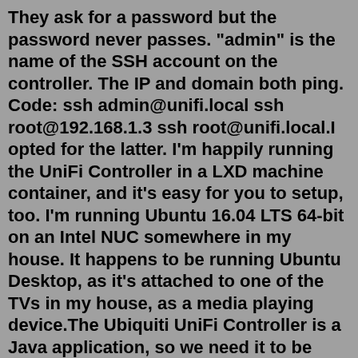They ask for a password but the password never passes. "admin" is the name of the SSH account on the controller. The IP and domain both ping. Code: ssh admin@unifi.local ssh root@192.168.1.3 ssh root@unifi.local.I opted for the latter. I'm happily running the UniFi Controller in a LXD machine container, and it's easy for you to setup, too. I'm running Ubuntu 16.04 LTS 64-bit on an Intel NUC somewhere in my house. It happens to be running Ubuntu Desktop, as it's attached to one of the TVs in my house, as a media playing device.The Ubiquiti UniFi Controller is a Java application, so we need it to be installed on the system so that it can run .jar files. Add Unify repository and GPG keys: We need to add the Unifi repo apt sources list, so that we can install unifi controller with 'apt-get' on our Ubuntu 16.04 server. These instructions assume you are running the UniFi controller as a service. More on that here. 1. Open your UniFi controller and make a backup of your current configuration. Shouldn't need it but you never know. 2. While Oracle Java is still